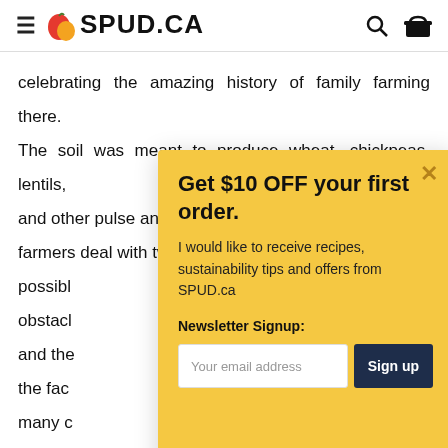SPUD.CA
celebrating the amazing history of family farming there. The soil was meant to produce wheat, chickpeas, lentils, and other pulse and grain crops—having said that, our farmers deal with two of the toughest obstacles possible obstacle and the fac many c legacy. We fe product farmers
[Figure (screenshot): Modal popup overlay on SPUD.ca website offering $10 OFF first order with newsletter signup form including email input and Sign up button]
Get $10 OFF your first order.
I would like to receive recipes, sustainability tips and offers from SPUD.ca
Newsletter Signup:
Your email address
Sign up